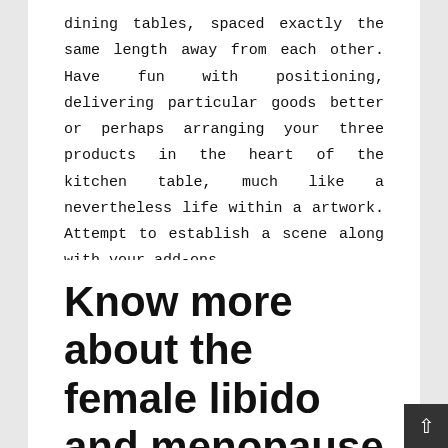dining tables, spaced exactly the same length away from each other. Have fun with positioning, delivering particular goods better or perhaps arranging your three products in the heart of the kitchen table, much like a nevertheless life within a artwork. Attempt to establish a scene along with your add-ons.
Home
Know more about the female libido and menopause
Benicio   January 15, 2020   No Comments